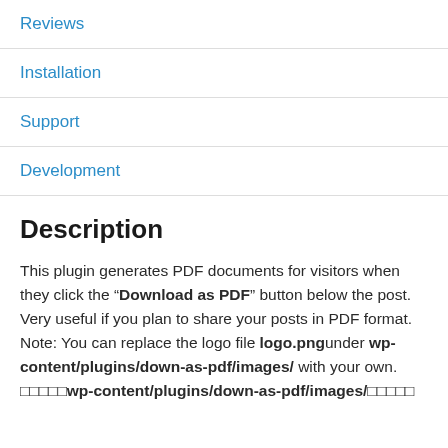Reviews
Installation
Support
Development
Description
This plugin generates PDF documents for visitors when they click the “Download as PDF” button below the post. Very useful if you plan to share your posts in PDF format.
Note: You can replace the logo file logo.png under wp-content/plugins/down-as-pdf/images/ with your own.
□□□□□wp-content/plugins/down-as-pdf/images/□□□□□